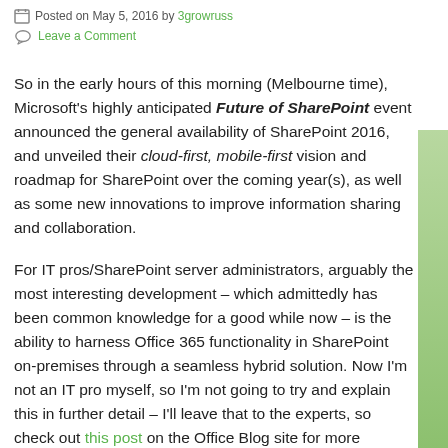Posted on May 5, 2016 by 3growruss
Leave a Comment
So in the early hours of this morning (Melbourne time), Microsoft's highly anticipated Future of SharePoint event announced the general availability of SharePoint 2016, and unveiled their cloud-first, mobile-first vision and roadmap for SharePoint over the coming year(s), as well as some new innovations to improve information sharing and collaboration.
For IT pros/SharePoint server administrators, arguably the most interesting development – which admittedly has been common knowledge for a good while now – is the ability to harness Office 365 functionality in SharePoint on-premises through a seamless hybrid solution. Now I'm not an IT pro myself, so I'm not going to try and explain this in further detail – I'll leave that to the experts, so check out this post on the Office Blog site for more information